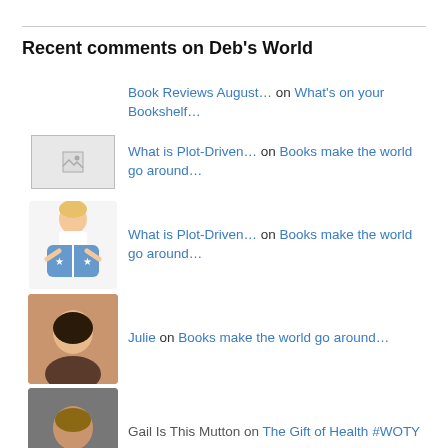Recent comments on Deb's World
Book Reviews August… on What's on your Bookshelf…
What is Plot-Driven… on Books make the world go around…
What is Plot-Driven… on Books make the world go around…
Julie on Books make the world go around…
Gail Is This Mutton on The Gift of Health #WOTY
wrookieschu on The Gift of Health #WOTY
Anne V on Can I travel to the other side…